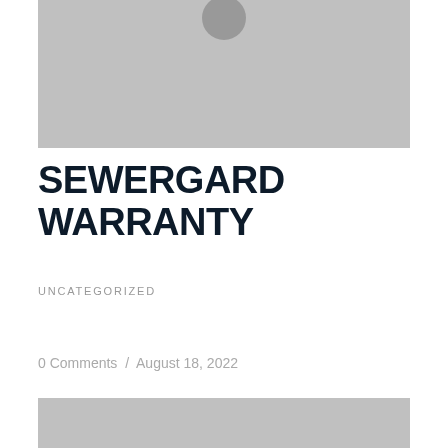[Figure (photo): Gray placeholder image with circular icon at top center]
SEWERGARD WARRANTY
UNCATEGORIZED
0 Comments  /  August 18, 2022
[Figure (photo): Gray placeholder image at bottom of page]